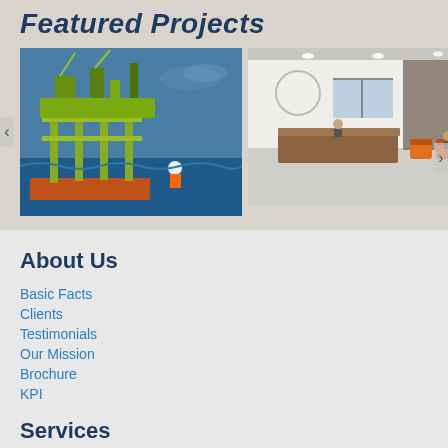Featured Projects
[Figure (photo): Offshore oil and gas platform with yellow steel structure, workers in safety gear visible, blue sea and sky in background]
[Figure (photo): Modern office lobby/reception area with wooden reception desk, orange chairs, white walls and recessed lighting]
About Us
Basic Facts
Clients
Testimonials
Our Mission
Brochure
KPI
Services